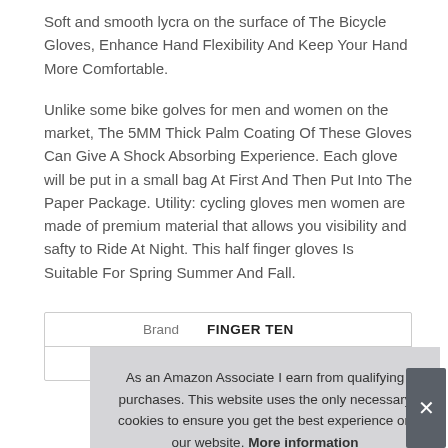Soft and smooth lycra on the surface of The Bicycle Gloves, Enhance Hand Flexibility And Keep Your Hand More Comfortable.
Unlike some bike golves for men and women on the market, The 5MM Thick Palm Coating Of These Gloves Can Give A Shock Absorbing Experience. Each glove will be put in a small bag At First And Then Put Into The Paper Package. Utility: cycling gloves men women are made of premium material that allows you visibility and safty to Ride At Night. This half finger gloves Is Suitable For Spring Summer And Fall.
|  |  |
| --- | --- |
| Brand | FINGER TEN |
| Ma |  |
As an Amazon Associate I earn from qualifying purchases. This website uses the only necessary cookies to ensure you get the best experience on our website. More information